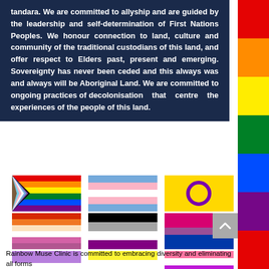tandara. We are committed to allyship and are guided by the leadership and self-determination of First Nations Peoples. We honour connection to land, culture and community of the traditional custodians of this land, and offer respect to Elders past, present and emerging. Sovereignty has never been ceded and this always was and always will be Aboriginal Land. We are committed to ongoing practices of decolonisation that centre the experiences of the people of this land.
[Figure (illustration): A 3x5 grid of LGBTQ+ pride flags including: Progress Pride flag, Transgender flag, Intersex flag, Lesbian flag, Asexual flag, Bisexual flag, Genderqueer flag, Non-binary flag, Genderfluid flag, Pansexual flag (yellow/yellow row), Genderqueer/purple flag, Pansexual stripes, and other pride flags.]
Rainbow Muse Clinic is committed to embracing diversity and eliminating all forms